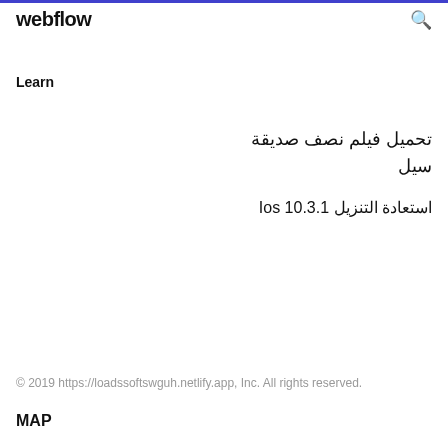webflow
Learn
تحميل فيلم نصف صديقة
سيل
استعادة التنزيل Ios 10.3.1
© 2019 https://loadssoftswguh.netlify.app, Inc. All rights reserved.
MAP